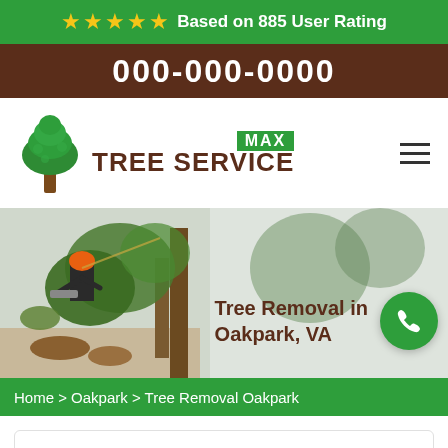★★★★★ Based on 885 User Rating
000-000-0000
[Figure (logo): Max Tree Service logo with green tree icon and brown text]
[Figure (photo): Tree removal worker in orange helmet using chainsaw on large tree with text overlay: Tree Removal in Oakpark, VA]
Home > Oakpark > Tree Removal Oakpark
Oakpark Tree Service Max Serves The Best Tree Removal